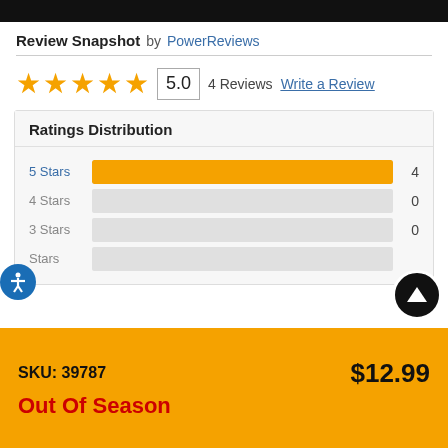Review Snapshot by PowerReviews
[Figure (bar-chart): Ratings Distribution]
SKU: 39787   $12.99
Out Of Season